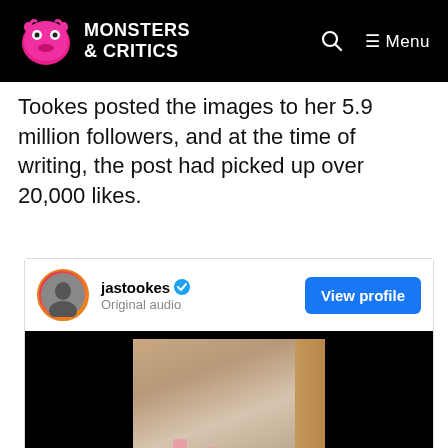MONSTERS & CRITICS
Tookes posted the images to her 5.9 million followers, and at the time of writing, the post had picked up over 20,000 likes.
[Figure (screenshot): Instagram embed showing jastookes profile with verified badge, Original audio subtitle, View profile button, and an image of items on a surface]
jastookes — Original audio — View profile